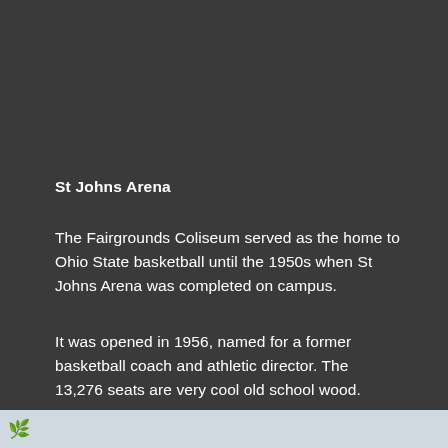St Johns Arena
The Fairgrounds Coliseum served as the home to Ohio State basketball until the 1950s when St Johns Arena was completed on campus.
It was opened in 1956, named for a former basketball coach and athletic director. The 13,276 seats are very cool old school wood.
Once Scottenstein Center was completed, the arena has been relegated to secondary sports like gymnastics and volleyball.
[Figure (photo): Partial view of a photo at the bottom of the page, showing a light blue/grey sky with a tree or similar object visible at the left edge.]